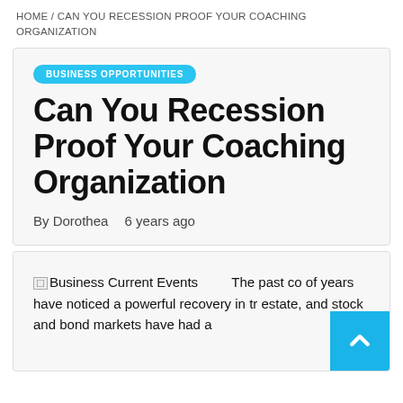HOME / CAN YOU RECESSION PROOF YOUR COACHING ORGANIZATION
Can You Recession Proof Your Coaching Organization
By Dorothea   6 years ago
The past co of years have noticed a powerful recovery in tr estate, and stock and bond markets have had a